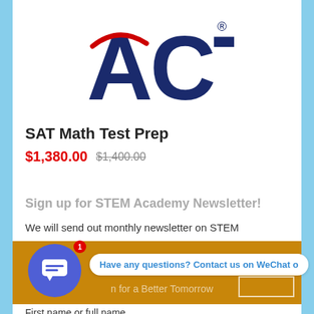[Figure (logo): ACT logo in dark navy blue with a red swoosh accent mark above the letter A]
SAT Math Test Prep
$1,380.00  $1,400.00
Sign up for STEM Academy Newsletter!
We will send out monthly newsletter on STEM
[Figure (screenshot): Gold/amber banner with chat bubble overlay showing 'Have any questions? Contact us on WeChat o...' message popup, and a notification badge showing 1]
for a Better Tomorrow
First name or full name